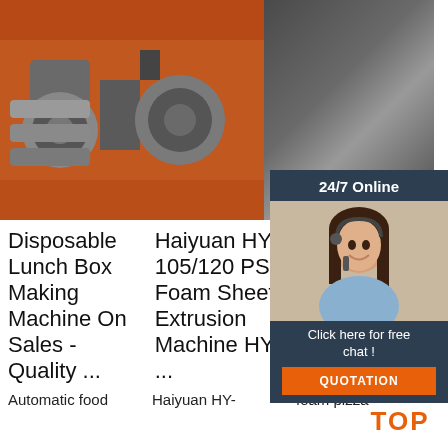[Figure (photo): Three industrial machine photos side by side: left shows orange and metal roller/extrusion machinery, center shows metal industrial machinery close-up, right shows orange and metal machinery with price tags]
[Figure (infographic): Chat widget overlay on top right: dark navy background with '24/7 Online' header, photo of smiling woman with headset, 'Click here for free chat!' text, orange QUOTATION button]
Disposable Lunch Box Making Machine On Sales - Quality ...
Haiyuan HY-105/120 PS Foam Sheet Extrusion Machine HY ...
H... 1... F... gg Tray Plastic Thermoformin ...
Automatic food
Haiyuan HY-
foam pizza
[Figure (infographic): TOP badge in orange with decorative dots]